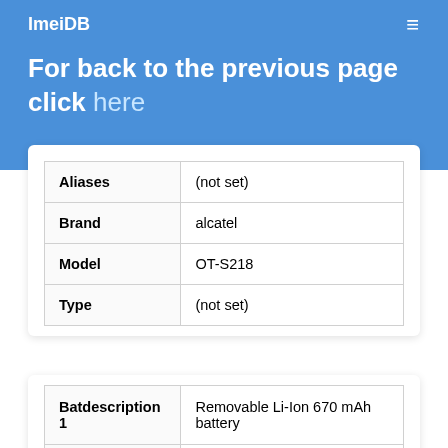ImeiDB
For back to the previous page click here
| Aliases | (not set) |
| Brand | alcatel |
| Model | OT-S218 |
| Type | (not set) |
| Batdescription 1 | Removable Li-Ion 670 mAh battery |
| Batsize HI | 670 |